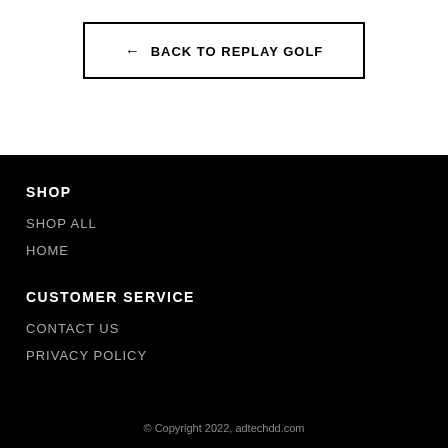← BACK TO REPLAY GOLF
SHOP
SHOP ALL
HOME
CUSTOMER SERVICE
CONTACT US
PRIVACY POLICY
© Copyright 2022, adtechdd.com